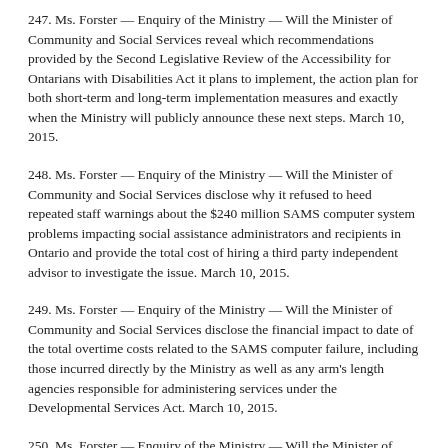247. Ms. Forster — Enquiry of the Ministry — Will the Minister of Community and Social Services reveal which recommendations provided by the Second Legislative Review of the Accessibility for Ontarians with Disabilities Act it plans to implement, the action plan for both short-term and long-term implementation measures and exactly when the Ministry will publicly announce these next steps. March 10, 2015.
248. Ms. Forster — Enquiry of the Ministry — Will the Minister of Community and Social Services disclose why it refused to heed repeated staff warnings about the $240 million SAMS computer system problems impacting social assistance administrators and recipients in Ontario and provide the total cost of hiring a third party independent advisor to investigate the issue. March 10, 2015.
249. Ms. Forster — Enquiry of the Ministry — Will the Minister of Community and Social Services disclose the financial impact to date of the total overtime costs related to the SAMS computer failure, including those incurred directly by the Ministry as well as any arm's length agencies responsible for administering services under the Developmental Services Act. March 10, 2015.
250. Ms. Forster — Enquiry of the Ministry — Will the Minister of